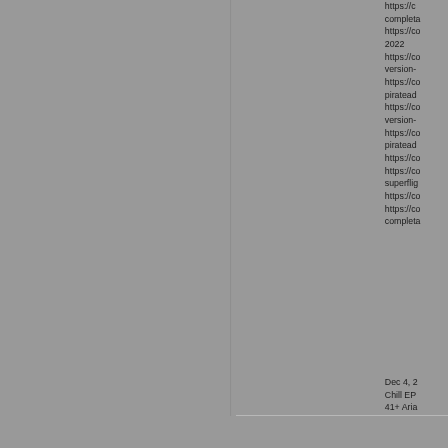https://c completar https://co 2022 https://co version- https://co pirateadd https://co version- https://co pirateadd https://co https://co superflig https://co https://co complet
Dec 4, 2 Chill EP 41+ Aria